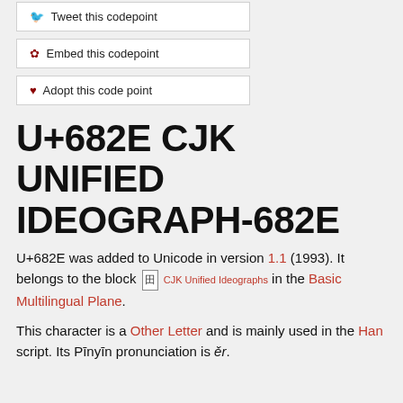🐦 Tweet this codepoint
✿ Embed this codepoint
♥ Adopt this code point
U+682E CJK UNIFIED IDEOGRAPH-682E
U+682E was added to Unicode in version 1.1 (1993). It belongs to the block [CJK icon] CJK Unified Ideographs in the Basic Multilingual Plane.
This character is a Other Letter and is mainly used in the Han script. Its Pīnyīn pronunciation is ěr.